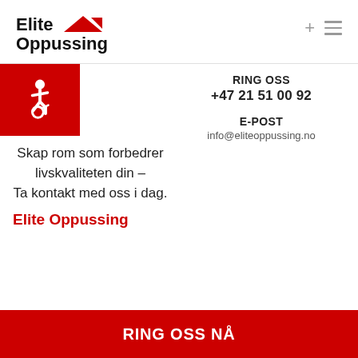[Figure (logo): Elite Oppussing logo with red rooftop/arrow icon and bold black text]
[Figure (illustration): Accessibility wheelchair icon in white on red background square]
Skap rom som forbedrer livskvaliteten din – Ta kontakt med oss i dag.
RING OSS
+47 21 51 00 92

E-POST
info@eliteoppussing.no
Elite Oppussing
RING OSS NÅ